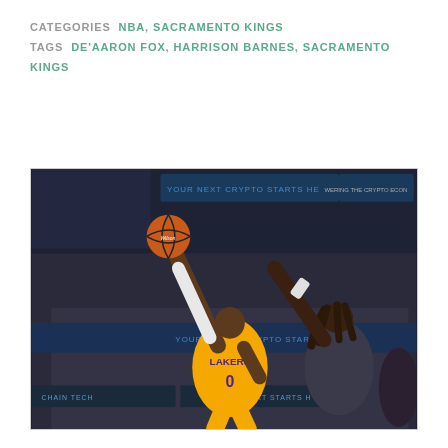CATEGORIES  NBA, SACRAMENTO KINGS
TAGS  DE'AARON FOX, HARRISON BARNES, SACRAMENTO KINGS
[Figure (photo): NBA basketball game photo showing a Lakers player (#0 in yellow jersey) reaching up to shoot a layup with a basketball, while a Sacramento Kings defender reaches to block. Arena crowd and Coinbase arena advertising visible in background.]